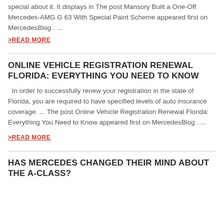special about it. It displays in The post Mansory Built a One-Off Mercedes-AMG G 63 With Special Paint Scheme appeared first on MercedesBlog . ...
>READ MORE
ONLINE VEHICLE REGISTRATION RENEWAL FLORIDA: EVERYTHING YOU NEED TO KNOW
In order to successfully renew your registration in the state of Florida, you are required to have specified levels of auto insurance coverage. ... The post Online Vehicle Registration Renewal Florida: Everything You Need to Know appeared first on MercedesBlog . ...
>READ MORE
HAS MERCEDES CHANGED THEIR MIND ABOUT THE A-CLASS?